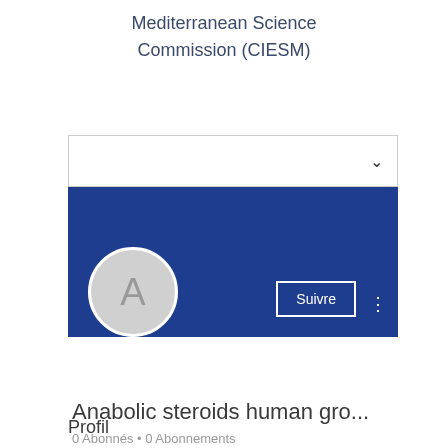Mediterranean Science Commission (CIESM)
[Figure (screenshot): A UI profile card showing a dropdown selector at top, a blue banner header, a circular avatar with letter 'A', a 'Suivre' (Follow) button, a three-dot menu icon, the truncated name 'Anabolic steroids human gro...', and subscriber info '0 Abonnés • 0 Abonnements'.]
Profil